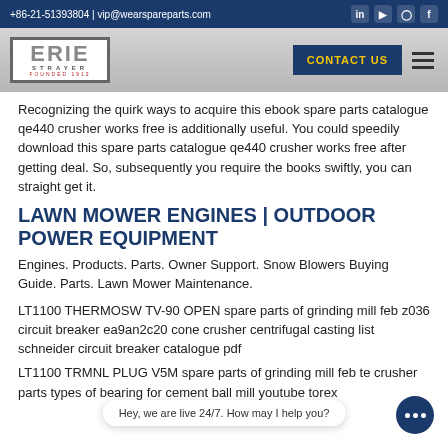+86-21-51393804 | vip@wearspareparts.com
[Figure (logo): Erie Strayer logo with contact us button and hamburger menu]
Recognizing the quirk ways to acquire this ebook spare parts catalogue qe440 crusher works free is additionally useful. You could speedily download this spare parts catalogue qe440 crusher works free after getting deal. So, subsequently you require the books swiftly, you can straight get it.
LAWN MOWER ENGINES | OUTDOOR POWER EQUIPMENT
Engines. Products. Parts. Owner Support. Snow Blowers Buying Guide. Parts. Lawn Mower Maintenance.
LT1100 THERMOSW TV-90 OPEN spare parts of grinding mill feb z036 circuit breaker ea9an2c20 cone crusher centrifugal casting list schneider circuit breaker catalogue pdf
LT1100 TRMNL PLUG V5M spare parts of grinding mill feb te crusher parts types of bearing for cement ball mill youtube torex